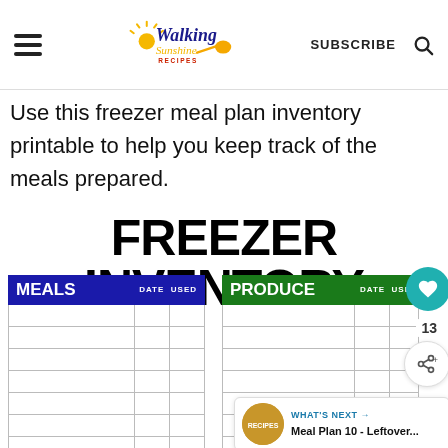Walking Sunshine Recipes — SUBSCRIBE
Use this freezer meal plan inventory printable to help you keep track of the meals prepared.
FREEZER INVENTORY
[Figure (other): Freezer Inventory printable showing two side-by-side tracking tables: MEALS (with DATE and USED columns) and PRODUCE (with DATE and USED columns), each with multiple empty rows for entries. UI overlays include a teal heart button, share count of 13, share icon, and a 'What's Next' panel showing 'Meal Plan 10 - Leftover...']